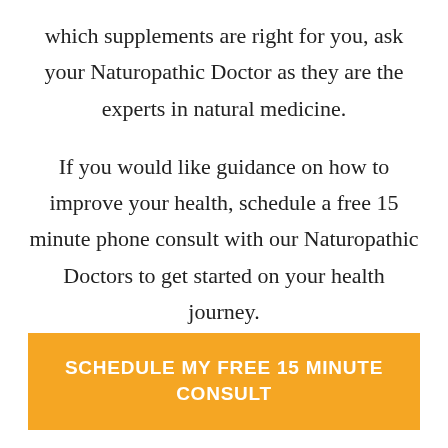which supplements are right for you, ask your Naturopathic Doctor as they are the experts in natural medicine.

If you would like guidance on how to improve your health, schedule a free 15 minute phone consult with our Naturopathic Doctors to get started on your health journey.
SCHEDULE MY FREE 15 MINUTE CONSULT